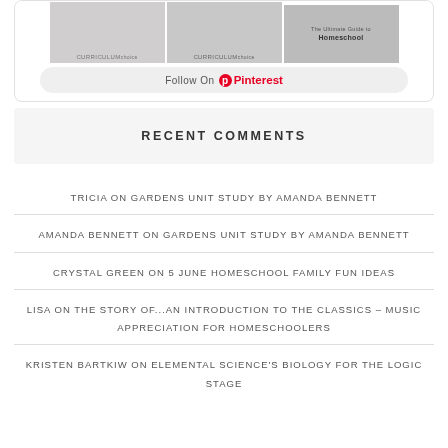[Figure (screenshot): Pinterest widget showing curriculum choice images and a Follow On Pinterest button]
RECENT COMMENTS
TRICIA ON GARDENS UNIT STUDY BY AMANDA BENNETT
AMANDA BENNETT ON GARDENS UNIT STUDY BY AMANDA BENNETT
CRYSTAL GREEN ON 5 JUNE HOMESCHOOL FAMILY FUN IDEAS
LISA ON THE STORY OF...AN INTRODUCTION TO THE CLASSICS – MUSIC APPRECIATION FOR HOMESCHOOLERS
KRISTEN BARTKIW ON ELEMENTAL SCIENCE'S BIOLOGY FOR THE LOGIC STAGE